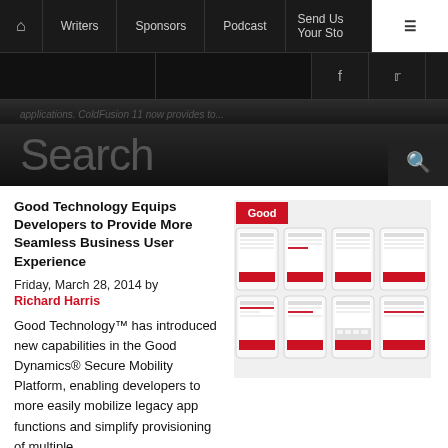Writers | Sponsors | Podcast | Send Us Your Story
applications. ColdFusion 11 now provides to...
Search
Good Technology Equips Developers to Provide More Seamless Business User Experience
Friday, March 28, 2014 by Richard Harris
[Figure (photo): Good Technology logo and multiple smartphone screens showing the Good Dynamics app interface]
Good Technology™ has introduced new capabilities in the Good Dynamics® Secure Mobility Platform, enabling developers to more easily mobilize legacy app functions and simplify provisioning of multiple Good secured apps. These patent-pending features, server...